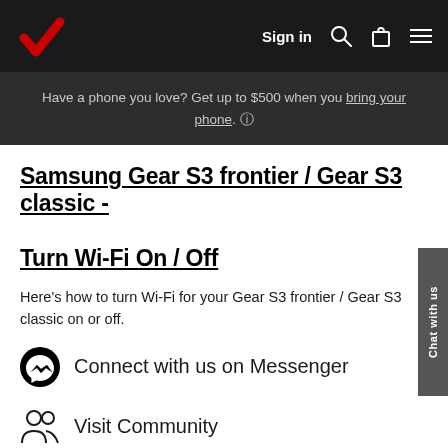Verizon — Sign in
Have a phone you love? Get up to $500 when you bring your phone. ℹ
Samsung Gear S3 frontier / Gear S3 classic - Turn Wi-Fi On / Off
Here's how to turn Wi-Fi for your Gear S3 frontier / Gear S3 classic on or off.
Connect with us on Messenger
Visit Community
24/7 automated phone system: call *611 from your